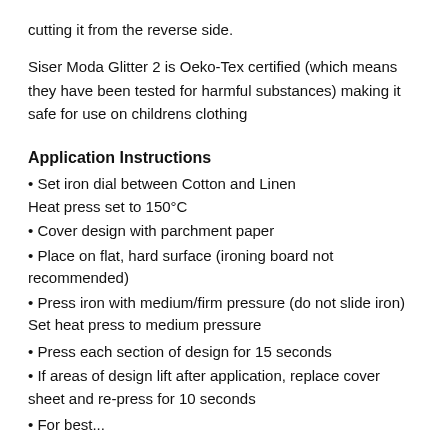cutting it from the reverse side.
Siser Moda Glitter 2 is Oeko-Tex certified (which means they have been tested for harmful substances) making it safe for use on childrens clothing
Application Instructions
Set iron dial between Cotton and Linen
Heat press set to 150°C
Cover design with parchment paper
Place on flat, hard surface (ironing board not recommended)
Press iron with medium/firm pressure (do not slide iron) Set heat press to medium pressure
Press each section of design for 15 seconds
If areas of design lift after application, replace cover sheet and re-press for 10 seconds
For best...